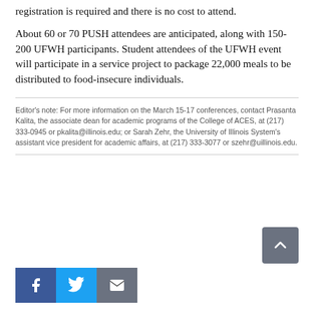registration is required and there is no cost to attend.
About 60 or 70 PUSH attendees are anticipated, along with 150-200 UFWH participants. Student attendees of the UFWH event will participate in a service project to package 22,000 meals to be distributed to food-insecure individuals.
Editor's note: For more information on the March 15-17 conferences, contact Prasanta Kalita, the associate dean for academic programs of the College of ACES, at (217) 333-0945 or pkalita@illinois.edu; or Sarah Zehr, the University of Illinois System's assistant vice president for academic affairs, at (217) 333-3077 or szehr@uillinois.edu.